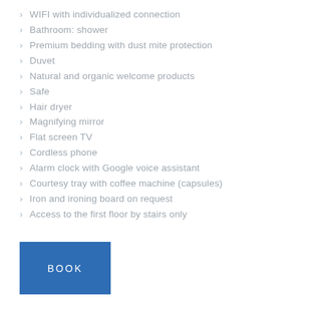WIFI with individualized connection
Bathroom: shower
Premium bedding with dust mite protection
Duvet
Natural and organic welcome products
Safe
Hair dryer
Magnifying mirror
Flat screen TV
Cordless phone
Alarm clock with Google voice assistant
Courtesy tray with coffee machine (capsules)
Iron and ironing board on request
Access to the first floor by stairs only
BOOK